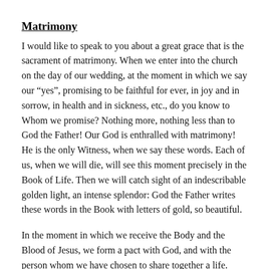Matrimony
I would like to speak to you about a great grace that is the sacrament of matrimony. When we enter into the church on the day of our wedding, at the moment in which we say our “yes”, promising to be faithful for ever, in joy and in sorrow, in health and in sickness, etc., do you know to Whom we promise? Nothing more, nothing less than to God the Father! Our God is enthralled with matrimony! He is the only Witness, when we say these words. Each of us, when we will die, will see this moment precisely in the Book of Life. Then we will catch sight of an indescribable golden light, an intense splendor: God the Father writes these words in the Book with letters of gold, so beautiful.
In the moment in which we receive the Body and the Blood of Jesus, we form a pact with God, and with the person whom we have chosen to share together a life.